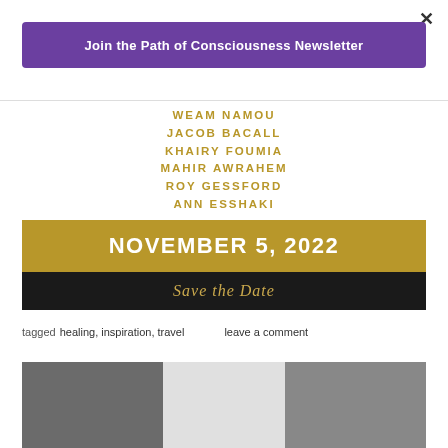×
Join the Path of Consciousness Newsletter
[Figure (photo): Event announcement image showing names WEAM NAMOU, JACOB BACALL, KHAIRY FOUMIA, MAHIR AWRAHEM, ROY GESSFORD, ANN ESSHAKI with NOVEMBER 5, 2022 and Save the Date]
tagged healing, inspiration, travel    leave a comment
[Figure (photo): Photo strip showing three people, partially visible at bottom of page]